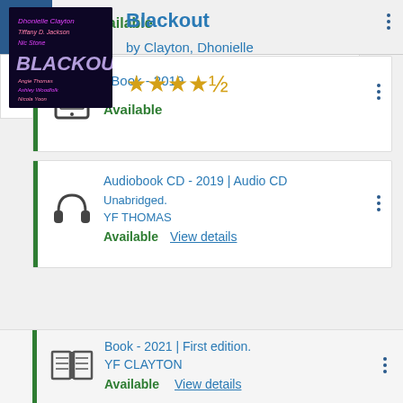Available
eBook - 2019
Available
Audiobook CD - 2019 | Audio CD
Unabridged.
YF THOMAS
Available View details
Blackout
by Clayton, Dhonielle
Book - 2021 | First edition.
YF CLAYTON
Available View details